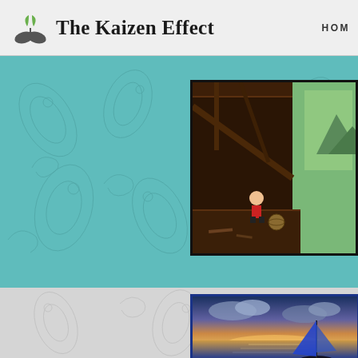The Kaizen Effect — HOME
[Figure (photo): The Kaizen Effect website header with logo (green leaf/hands icon) and site name in serif font, with HOME navigation text on the right]
[Figure (photo): Teal decorative paisley-patterned banner section containing a framed illustration of a child in a rustic barn/attic interior with wooden beams, looking out toward a scenic landscape]
[Figure (photo): Light gray decorative paisley-patterned banner section containing a framed photograph of a sailboat with blue sail on calm ocean water at sunset/dusk with dramatic clouds]